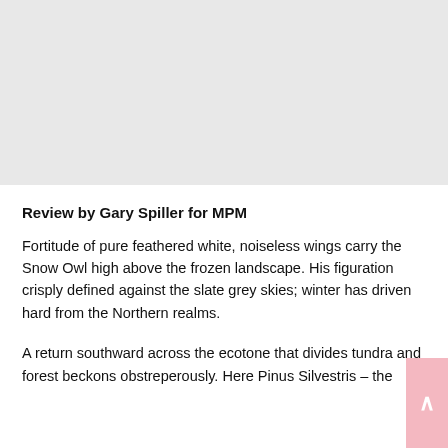[Figure (photo): Light grey placeholder image area at the top of the page]
Review by Gary Spiller for MPM
Fortitude of pure feathered white, noiseless wings carry the Snow Owl high above the frozen landscape. His figuration crisply defined against the slate grey skies; winter has driven hard from the Northern realms.
A return southward across the ecotone that divides tundra and forest beckons obstreperously. Here Pinus Silvestris – the